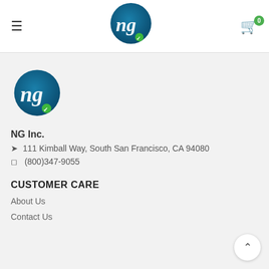[Figure (logo): NG Inc. logo - blue circle with stylized 'ng' in white cursive text and small green dot, shown in navigation bar]
[Figure (logo): NG Inc. logo - blue circle with stylized 'ng' in white cursive text and small green dot, shown in content area]
NG Inc.
111 Kimball Way, South San Francisco, CA 94080
(800)347-9055
CUSTOMER CARE
About Us
Contact Us